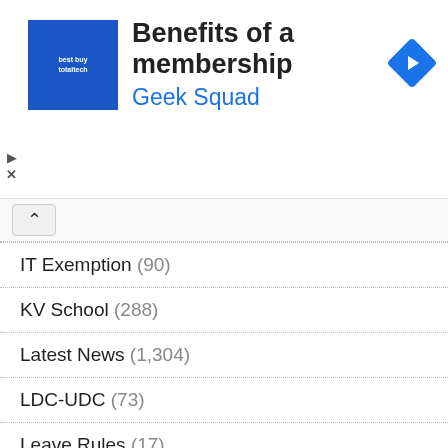[Figure (other): Advertisement banner for Best Buy Total Tech membership featuring Geek Squad, with a blue square logo, navigation arrow icon, play and close controls.]
IT Exemption (90)
KV School (288)
Latest News (1,304)
LDC-UDC (73)
Leave Rules (17)
Loan (16)
Lok Sabha Elections 2019 (15)
LTC (221)
MACP (255)